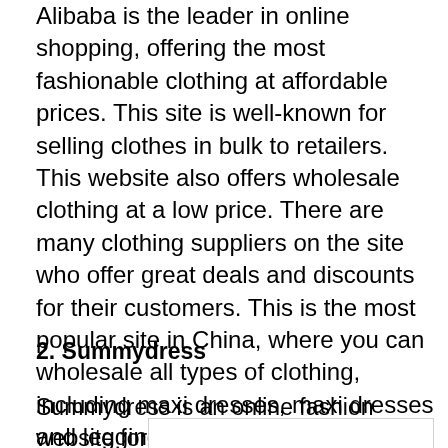Alibaba is the leader in online shopping, offering the most fashionable clothing at affordable prices. This site is well-known for selling clothes in bulk to retailers. This website also offers wholesale clothing at a low price. There are many clothing suppliers on the site who offer great deals and discounts for their customers. This is the most popular site in China, where you can wholesale all types of clothing, including maxi dresses, maxi dresses and leggings, as well as cheap women's clothes.
2. Summydress
Summydress is an online fashion website for women
[Figure (screenshot): Advertisement banner showing Lidl store with Ashburn location, OPEN 8AM-9PM, address 44175 Ashbrook Marketpla..., with navigation arrow icon, play button and close button icons]